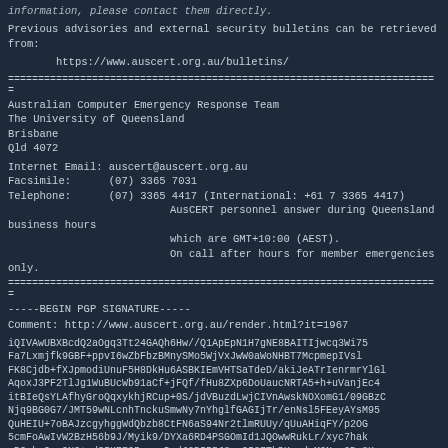information, please contact them directly.
Previous advisories and external security bulletins can be retrieved from:
https://www.auscert.org.au/bulletins/
========================================================================
Australian Computer Emergency Response Team
The University of Queensland
Brisbane
Qld 4072
Internet Email: auscert@auscert.org.au
Facsimile:      (07) 3365 7031
Telephone:      (07) 3365 4417 (International: +61 7 3365 4417)
                AusCERT personnel answer during Queensland business hours
                which are GMT+10:00 (AEST).
                On call after hours for member emergencies only.
========================================================================
-----BEGIN PGP SIGNATURE-----
Comment: http://www.auscert.org.au/render.html?it=1967
iQIVAwUBXBcdQ2aOgq3Tt24GAQh6Hw//Q1ApEpN1H7gNE8BAITIjwcq3Wi75
Fa7Lxmjfk9GBF+ppvI6wZbFbzBMnySMo5WjVxJwW0aWoNHBT7McpmepIVsl
FK8Cjdb+fXJpmodiUnuF5H8DkHu6ASBKIEmVHTSaTdeD/akiJeATrIenrmrYlGl
AqoxJ3PF2TlJg1WuBUcWb91aCf+jFQf/fHu8ZXp6DoUaucNRTA5+h+uVanjEc4
itBIeQsYLAfhyGroQqxykhjRCup+0S/jdVBuzdLwjCIVnAwskNOXomG1/09GBzC
Njq9BG0G7/JMT59wNLcnhTnckuSmwNy7nYhglfGAGIjTr/enNsl5FEeyAYsM95
QuHEIU+7oBAJzcgyhggWdQbzb8CtFN6aS94Nr2tlmRUUy/qUuAHiqFY/p2OG
5cmFoAwIvW2BzH56b9J/Myik9/DYXa6RD4PSGOmId1JQOwwRukLr/xyc7hak
zD2ykv9vyONC+zdGIKEF95mgrcDn/J9DIP5J8yxQI37ThDKpxdnMONrx0Dz8K
k1nAtqs70EPzCGkGxJn+8kaghiOmXieAjIJKjAw9pZapQi9tB4AtDvMLdErQfnys
R47sKVFCcsW7vU0bMKmH7IL AG/a8ovIJVH3F7UFpMzAPA1NEcIJhf+vdK23c